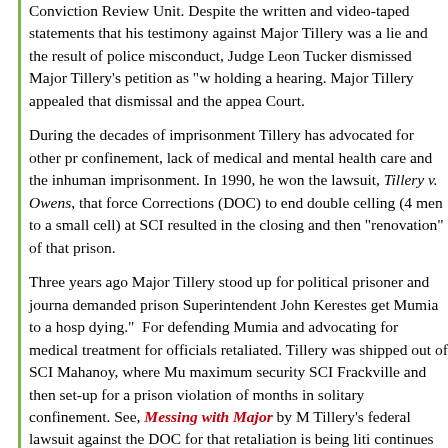Conviction Review Unit. Despite the written and video-taped statements that his testimony against Major Tillery was a lie and the result of police misconduct, Judge Leon Tucker dismissed Major Tillery's petition as "without holding a hearing. Major Tillery appealed that dismissal and the appeal is pending in Court.
During the decades of imprisonment Tillery has advocated for other prisoners against solitary confinement, lack of medical and mental health care and the inhumane conditions of imprisonment. In 1990, he won the lawsuit, Tillery v. Owens, that forced the Department of Corrections (DOC) to end double celling (4 men to a small cell) at SCI Pittsburgh that resulted in the closing and then "renovation" of that prison.
Three years ago Major Tillery stood up for political prisoner and journalist Mumia Abu-Jamal and demanded prison Superintendent John Kerestes get Mumia to a hospital saying "Mumia is dying." For defending Mumia and advocating for medical treatment for all prisoners, prison officials retaliated. Tillery was shipped out of SCI Mahanoy, where Mumia is held, to maximum security SCI Frackville and then set-up for a prison violation that put him months of months in solitary confinement. See, Messing with Major by Mumia Abu Jamal. Major Tillery's federal lawsuit against the DOC for that retaliation is being litigated. Major Tillery continues as an advocate for all prisoners. He is fighting to get the DOC to provide care for elderly prisoners.
Major Tillery Needs Your Help:
Well-known criminal defense attorney Stephen Patrizio represents Major pro bono on his conviction. More investigation is underway. We can't count on the courts alone to make the findings of misconduct against the police detectives and prosecutors who